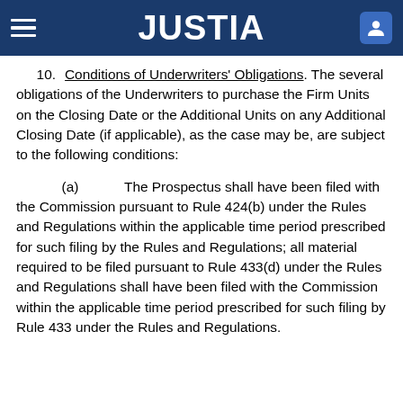JUSTIA
10. Conditions of Underwriters' Obligations. The several obligations of the Underwriters to purchase the Firm Units on the Closing Date or the Additional Units on any Additional Closing Date (if applicable), as the case may be, are subject to the following conditions:
(a) The Prospectus shall have been filed with the Commission pursuant to Rule 424(b) under the Rules and Regulations within the applicable time period prescribed for such filing by the Rules and Regulations; all material required to be filed pursuant to Rule 433(d) under the Rules and Regulations shall have been filed with the Commission within the applicable time period prescribed for such filing by Rule 433 under the Rules and Regulations.